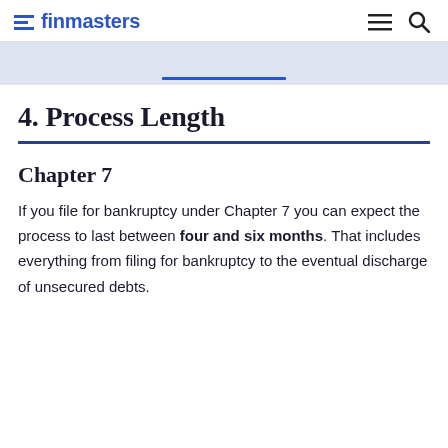finmasters
4. Process Length
Chapter 7
If you file for bankruptcy under Chapter 7 you can expect the process to last between four and six months. That includes everything from filing for bankruptcy to the eventual discharge of unsecured debts.